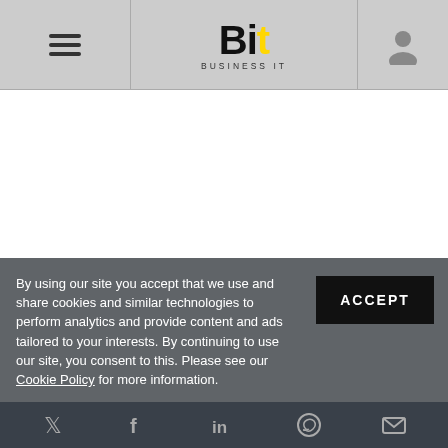Bit Business IT
(June 2022)
By using our site you accept that we use and share cookies and similar technologies to perform analytics and provide content and ads tailored to your interests. By continuing to use our site, you consent to this. Please see our Cookie Policy for more information.